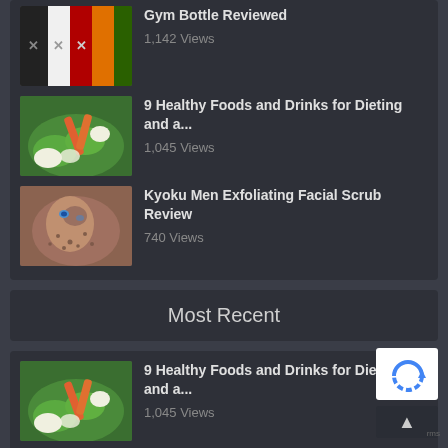Gym Bottle Reviewed — 1,142 Views
9 Healthy Foods and Drinks for Dieting and a... — 1,045 Views
Kyoku Men Exfoliating Facial Scrub Review — 740 Views
Most Recent
9 Healthy Foods and Drinks for Dieting and a... — 1,045 Views
[Figure (screenshot): reCAPTCHA badge with back-to-top arrow button overlay]